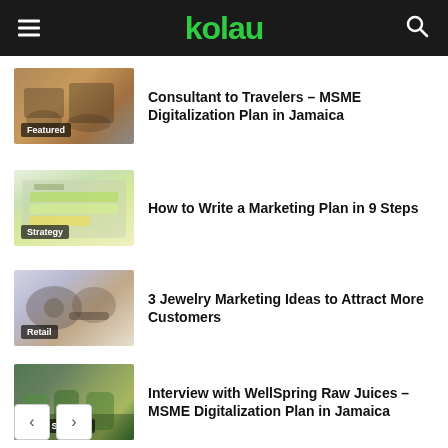kolau
[Figure (photo): Featured thumbnail showing people around a table with devices, with 'Featured' label overlay]
Consultant to Travelers – MSME Digitalization Plan in Jamaica
[Figure (photo): Strategy thumbnail showing a laptop with a colorful spreadsheet/table, with 'Strategy' label overlay]
How to Write a Marketing Plan in 9 Steps
[Figure (photo): Retail thumbnail showing jewelry items including a watch and beads, with 'Retail' label overlay]
3 Jewelry Marketing Ideas to Attract More Customers
[Figure (photo): Food Services thumbnail showing juice cups on a shelf, with 'Food Services' label overlay]
Interview with WellSpring Raw Juices – MSME Digitalization Plan in Jamaica